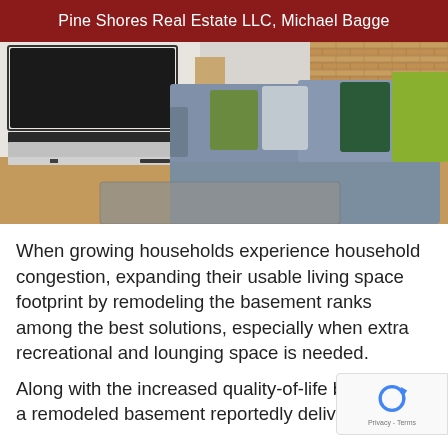Pine Shores Real Estate LLC, Michael Bagge
[Figure (photo): Interior photo of a modern living room with a gray L-shaped sofa with green and gray decorative pillows, a wall-mounted TV, white and dark media console, hardwood floor, gray area rug, and exposed brick wall on the right side.]
When growing households experience household congestion, expanding their usable living space footprint by remodeling the basement ranks among the best solutions, especially when extra recreational and lounging space is needed.
Along with the increased quality-of-life be... a remodeled basement reportedly delivers